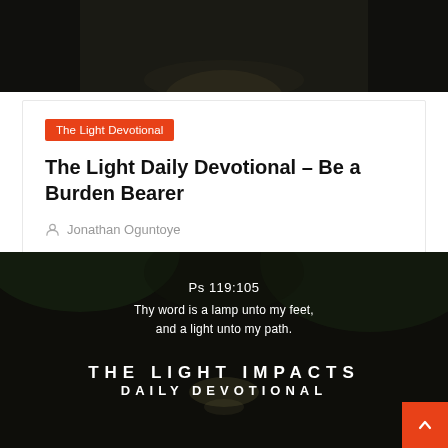[Figure (illustration): Dark forest road banner header with text 'THE LIGHT IMPACTS DAILY DEVOTIONAL' in white uppercase letters on dark background]
The Light Devotional
The Light Daily Devotional – Be a Burden Bearer
Jonathan Oguntoye
[Figure (illustration): Dark forest road image with Bible verse Ps 119:105 'Thy word is a lamp unto my feet, and a light unto my path.' and branding 'THE LIGHT IMPACTS DAILY DEVOTIONAL']